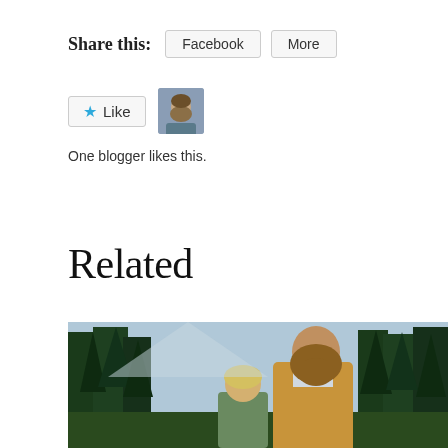Share this:
Facebook
More
[Figure (other): Like button with star icon and blogger avatar thumbnail]
One blogger likes this.
Related
[Figure (photo): A man with long hair and beard in a tan jacket standing outdoors with trees and a child in front of him]